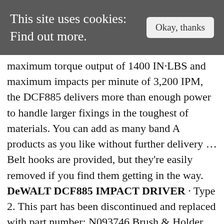This site uses cookies: Find out more.  [Okay, thanks]
maximum torque output of 1400 IN·LBS and maximum impacts per minute of 3,200 IPM, the DCF885 delivers more than enough power to handle larger fixings in the toughest of materials. You can add as many band A products as you like without further delivery ... Belt hooks are provided, but they're easily removed if you find them getting in the way. DeWALT DCF885 IMPACT DRIVER · Type 2. This part has been discontinued and replaced with part number: N093746 Brush & Holder Assy, Black W/O Pcb · Dewalt®, N268919 Mechanism Assy, Pkg'D N197132 · Dewalt®, N268387 Nose Cone, Pkg'D N056044 · Dewalt®, Dewalt SWITCH